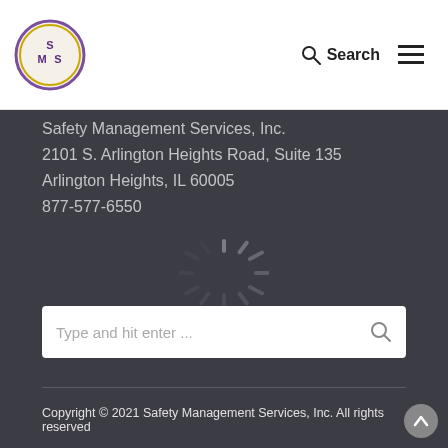SMS Safety Management Services, Inc. — Search / Menu
Safety Management Services, Inc.
2101 S. Arlington Heights Road, Suite 135
Arlington Heights, IL 60005
877-577-6550
[Figure (infographic): Loading spinner icon centered in the dark area]
Type and hit enter ...
Copyright © 2021 Safety Management Services, Inc. All rights reserved